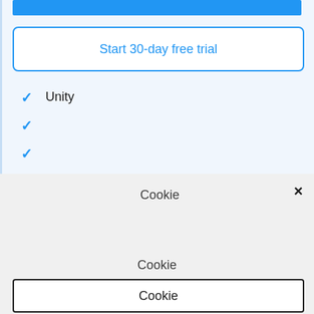[Figure (screenshot): Blue bar at top of a subscription/pricing card]
Start 30-day free trial
✓ Unity
✓
✓
Cookie
×
Cookie
Cookie